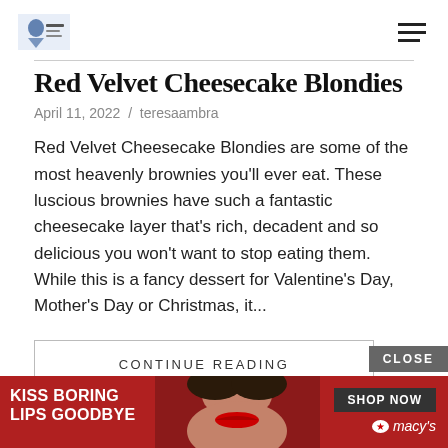[Logo] [Hamburger menu icon]
Red Velvet Cheesecake Blondies
April 11, 2022  /  teresaambra
Red Velvet Cheesecake Blondies are some of the most heavenly brownies you'll ever eat. These luscious brownies have such a fantastic cheesecake layer that's rich, decadent and so delicious you won't want to stop eating them. While this is a fancy dessert for Valentine's Day, Mother's Day or Christmas, it...
CONTINUE READING
[Figure (photo): Advertisement banner: 'KISS BORING LIPS GOODBYE' with woman's face, SHOP NOW button, and Macy's star logo on red background]